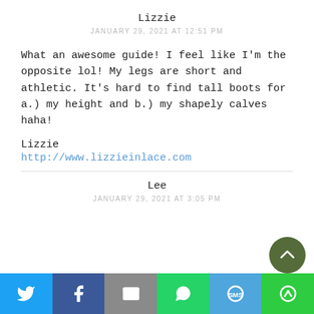Lizzie
JANUARY 29, 2021 AT 12:51 PM
What an awesome guide! I feel like I'm the opposite lol! My legs are short and athletic. It's hard to find tall boots for a.) my height and b.) my shapely calves haha!
Lizzie
http://www.lizzieinlace.com
Lee
JANUARY 29, 2021 AT 3:05 PM